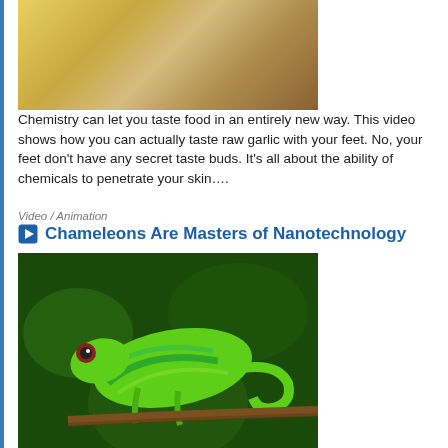[Figure (photo): Photo of garlic bulbs and onions on a yellow background]
Chemistry can let you taste food in an entirely new way. This video shows how you can actually taste raw garlic with your feet. No, your feet don't have any secret taste buds. It's all about the ability of chemicals to penetrate your skin....
Video / Animation
Chameleons Are Masters of Nanotechnology
[Figure (photo): Photo of a bright green chameleon on a branch against a dark green background]
What do chameleons have to do with nanotechnology? You'll find out when you watch this video. These color-changing lizards are some of nature's most interesting animals, all because they are masters of pigment and light. Explore the chemistry...